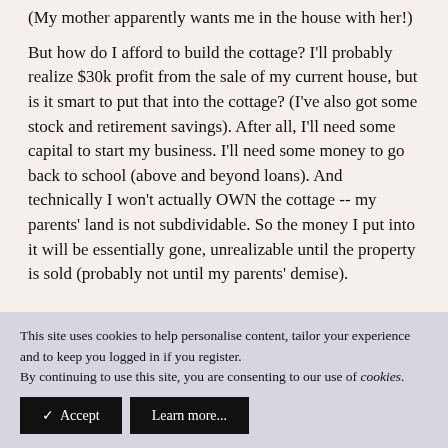(My mother apparently wants me in the house with her!)
But how do I afford to build the cottage? I'll probably realize $30k profit from the sale of my current house, but is it smart to put that into the cottage? (I've also got some stock and retirement savings). After all, I'll need some capital to start my business. I'll need some money to go back to school (above and beyond loans). And technically I won't actually OWN the cottage -- my parents' land is not subdividable. So the money I put into it will be essentially gone, unrealizable until the property is sold (probably not until my parents' demise).
This site uses cookies to help personalise content, tailor your experience and to keep you logged in if you register.
By continuing to use this site, you are consenting to our use of cookies.